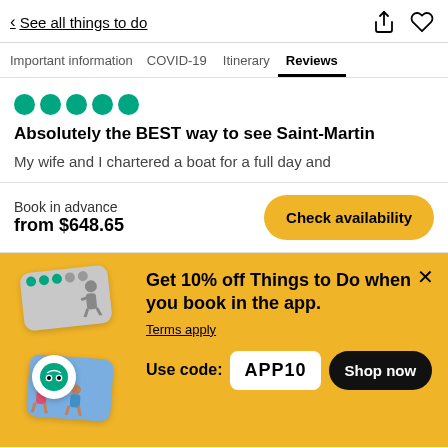< See all things to do
Important information  COVID-19  Itinerary  Reviews
Absolutely the BEST way to see Saint-Martin
My wife and I chartered a boat for a full day and
Book in advance
from $648.65
Get 10% off Things to Do when you book in the app.
Terms apply
Use code: APP10
[Figure (screenshot): Promotional banner with app screenshots and TripAdvisor badge on yellow background]